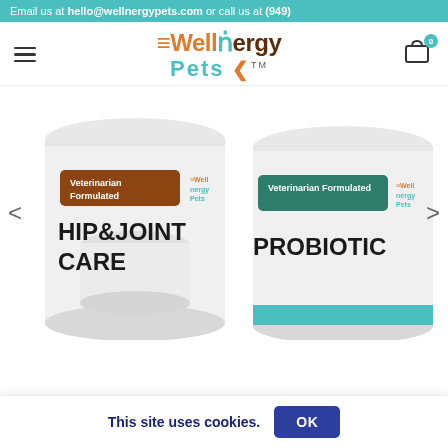Email us at hello@wellnergypets.com or call us at (949)
[Figure (logo): Wellnergy Pets logo with orange and teal lettering and paw print icon]
[Figure (photo): Product carousel showing two supplement jars: Hip & Joint Care and Probiotic, both labeled Veterinarian Formulated with Wellnergy Pets branding]
This site uses cookies.